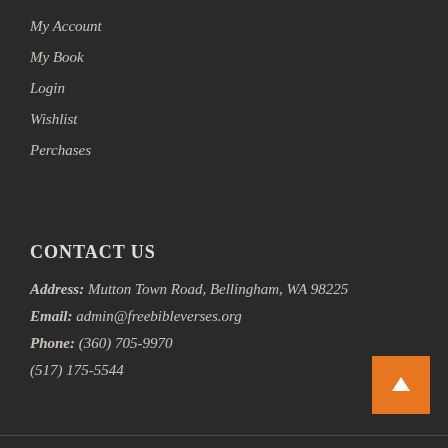My Account
My Book
Login
Wishlist
Perchases
CONTACT US
Address: Mutton Town Road, Bellingham, WA 98225
Email: admin@freebibleverses.org
Phone: (360) 705-9970
(517) 175-5544